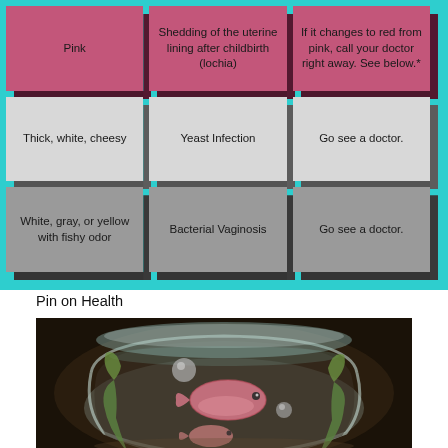[Figure (infographic): 3x3 grid of 3D boxes on teal background showing vaginal discharge color, possible cause, and action. Row 1 (pink boxes): 'Pink', 'Shedding of the uterine lining after childbirth (lochia)', 'If it changes to red from pink, call your doctor right away. See below.*'. Row 2 (light gray boxes): 'Thick, white, cheesy', 'Yeast Infection', 'Go see a doctor.'. Row 3 (gray boxes): 'White, gray, or yellow with fishy odor', 'Bacterial Vaginosis', 'Go see a doctor.']
Pin on Health
[Figure (photo): A stylized 3D rendered image of a glass fish bowl containing a pink fish, small spheres, and green plant-like elements, set against a dark background.]